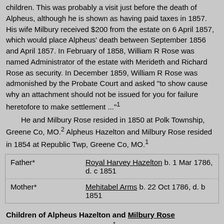children. This was probably a visit just before the death of Alpheus, although he is shown as having paid taxes in 1857. His wife Milbury received $200 from the estate on 6 April 1857, which would place Alpheus' death between September 1856 and April 1857. In February of 1858, William R Rose was named Administrator of the estate with Merideth and Richard Rose as security. In December 1859, William R Rose was admonished by the Probate Court and asked "to show cause why an attachment should not be issued for you for failure heretofore to make settlement ..."1

He and Milbury Rose resided in 1850 at Polk Township, Greene Co, MO.2 Alpheus Hazelton and Milbury Rose resided in 1854 at Republic Twp, Greene Co, MO.1
| Relationship | Person |
| --- | --- |
| Father* | Royal Harvey Hazelton b. 1 Mar 1786, d. c 1851 |
| Mother* | Mehitabel Arms b. 22 Oct 1786, d. b 1851 |
Children of Alpheus Hazelton and Milbury Rose
Elizabeth Milberry Hazelton+1
William Alpheus Hazelton+1
Mary Ann Hazelton+1